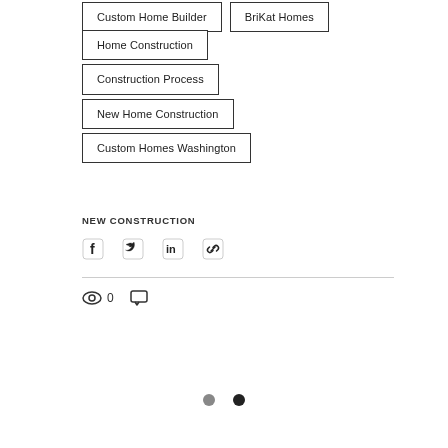Custom Home Builder
BriKat Homes
Home Construction
Construction Process
New Home Construction
Custom Homes Washington
NEW CONSTRUCTION
[Figure (infographic): Social share icons: Facebook, Twitter, LinkedIn, and link/copy icon]
0
[Figure (infographic): Pagination dots: gray dot and dark dot]